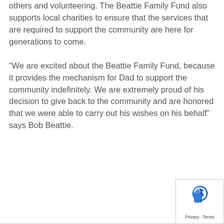others and volunteering. The Beattie Family Fund also supports local charities to ensure that the services that are required to support the community are here for generations to come.
“We are excited about the Beattie Family Fund, because it provides the mechanism for Dad to support the community indefinitely. We are extremely proud of his decision to give back to the community and are honored that we were able to carry out his wishes on his behalf” says Bob Beattie.
[Figure (logo): Google Maps / reCAPTCHA style logo with Privacy and Terms links]